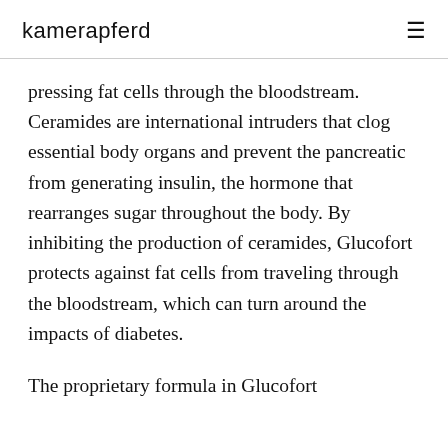kamerapferd
pressing fat cells through the bloodstream. Ceramides are international intruders that clog essential body organs and prevent the pancreatic from generating insulin, the hormone that rearranges sugar throughout the body. By inhibiting the production of ceramides, Glucofort protects against fat cells from traveling through the bloodstream, which can turn around the impacts of diabetes.
The proprietary formula in Glucofort